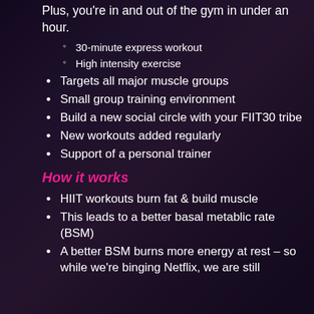Plus, you're in and out of the gym in under an hour.
30-minute express workout
High intensity exercise
Targets all major muscle groups
Small group training environment
Build a new social circle with your FIIT30 tribe
New workouts added regularly
Support of a personal trainer
How it works
HIIT workouts burn fat & build muscle
This leads to a better basal metablic rate (BSM)
A better BSM burns more energy at rest – so while we're binging Netflix, we are still